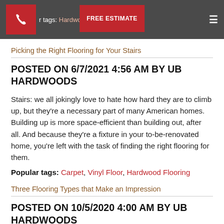r tags: Hardwood Flo…or, Tile  FREE ESTIMATE
Picking the Right Flooring for Your Stairs
POSTED ON 6/7/2021 4:56 AM BY UB HARDWOODS
Stairs: we all jokingly love to hate how hard they are to climb up, but they're a necessary part of many American homes. Building up is more space-efficient than building out, after all. And because they're a fixture in your to-be-renovated home, you're left with the task of finding the right flooring for them.
Popular tags: Carpet, Vinyl Floor, Hardwood Flooring
Three Flooring Types that Make an Impression
POSTED ON 10/5/2020 4:00 AM BY UB HARDWOODS